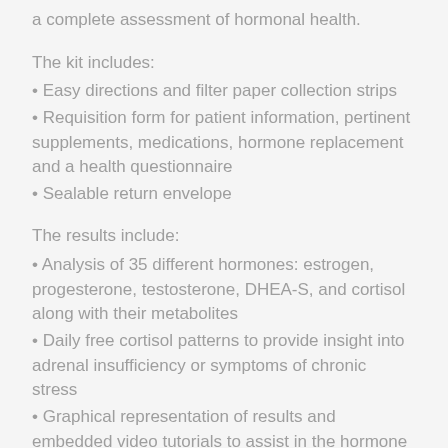a complete assessment of hormonal health.
The kit includes:
Easy directions and filter paper collection strips
Requisition form for patient information, pertinent supplements, medications, hormone replacement and a health questionnaire
Sealable return envelope
The results include:
Analysis of 35 different hormones: estrogen, progesterone, testosterone, DHEA-S, and cortisol along with their metabolites
Daily free cortisol patterns to provide insight into adrenal insufficiency or symptoms of chronic stress
Graphical representation of results and embedded video tutorials to assist in the hormone assessment to share with your medical provider
DUTCH OATs: Oxidative stress marker – 8-Hydroxy-2-